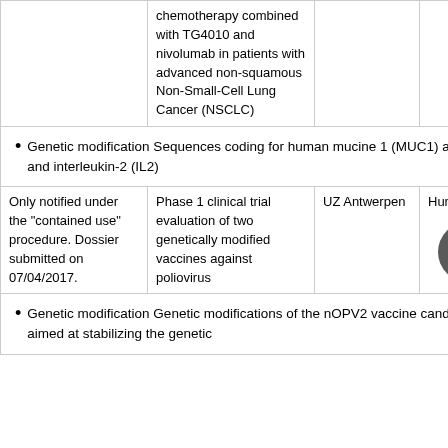|  |  | UZ Antwerpen | Humans |
| --- | --- | --- | --- |
|  | chemotherapy combined with TG4010 and nivolumab in patients with advanced non-squamous Non-Small-Cell Lung Cancer (NSCLC) |  |  |
Genetic modification Sequences coding for human mucine 1 (MUC1) antigen and interleukin-2 (IL2)
|  |  | UZ Antwerpen | Humans |
| --- | --- | --- | --- |
| Only notified under the "contained use" procedure. Dossier submitted on 07/04/2017. | Phase 1 clinical trial evaluation of two genetically modified vaccines against poliovirus | UZ Antwerpen | Humans |
Genetic modification Genetic modifications of the nOPV2 vaccine candidates aimed at stabilizing the genetic